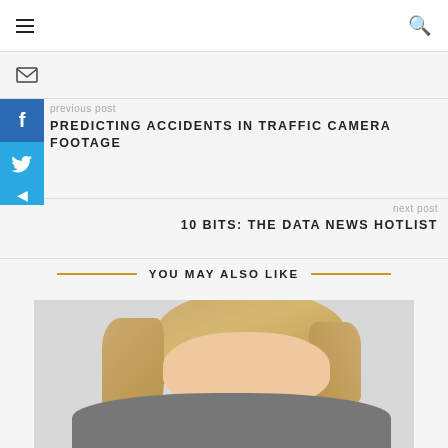≡  [search icon]
[email icon]
[Facebook share button]
[Twitter share button]
previous post
PREDICTING ACCIDENTS IN TRAFFIC CAMERA FOOTAGE
next post
10 BITS: THE DATA NEWS HOTLIST
YOU MAY ALSO LIKE
[Figure (photo): Portrait photo of a blonde woman]